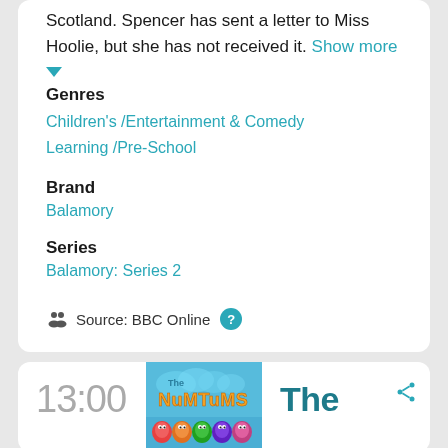Scotland. Spencer has sent a letter to Miss Hoolie, but she has not received it. Show more
Genres
Children's / Entertainment & Comedy Learning / Pre-School
Brand
Balamory
Series
Balamory: Series 2
Source: BBC Online ?
13:00
[Figure (logo): The Numtums logo on blue background]
The